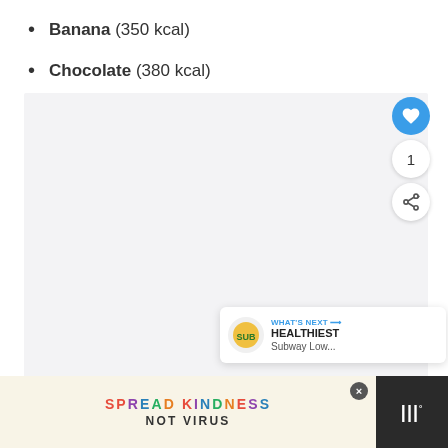Banana (350 kcal)
Chocolate (380 kcal)
[Figure (other): Large light gray image/content placeholder area with a blue heart/like button (count: 1) and a share button on the right side. A 'What's Next' recommendation card appears at bottom-right showing 'HEALTHIEST Subway Low...']
[Figure (infographic): Bottom advertisement banner with black background on sides and cream/beige center. Text reads 'SPREAD KINDNESS' in colorful letters and 'NOT VIRUS' in dark letters below. An X close button and a dark thumbnail section with white bars icon on the right.]